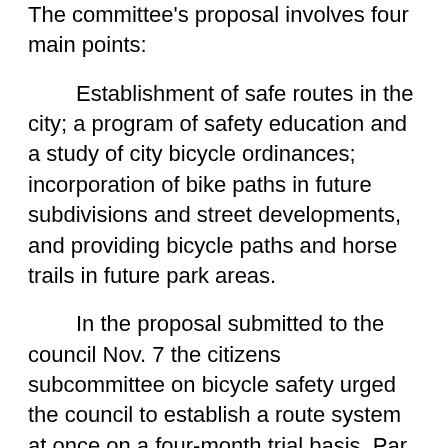The committee's proposal involves four main points:
Establishment of safe routes in the city; a program of safety education and a study of city bicycle ordinances; incorporation of bike paths in future subdivisions and street developments, and providing bicycle paths and horse trails in future park areas.
In the proposal submitted to the council Nov. 7 the citizens subcommittee on bicycle safety urged the council to establish a route system at once on a four-month trial basis. Par of the request, dealing with safety education, was followed this week by the annual Junior Chamber of Commerce campaign to attach reflector tape to